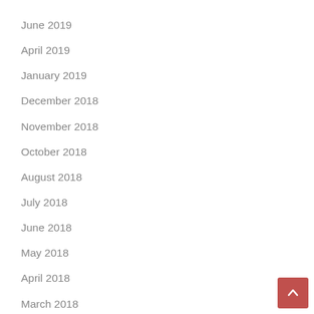June 2019
April 2019
January 2019
December 2018
November 2018
October 2018
August 2018
July 2018
June 2018
May 2018
April 2018
March 2018